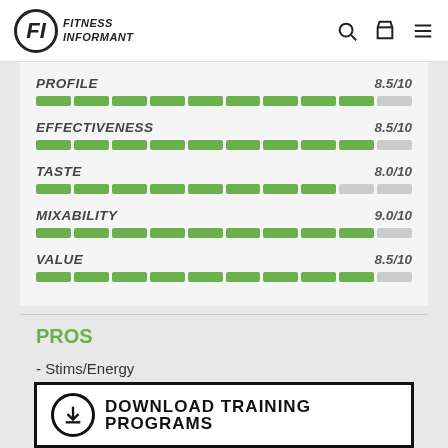[Figure (logo): Fitness Informant logo with circular FI emblem and bold italic text]
[Figure (bar-chart): Ratings]
PROS
- Stims/Energy
- Pump
[Figure (infographic): Download Training Programs banner with download icon]